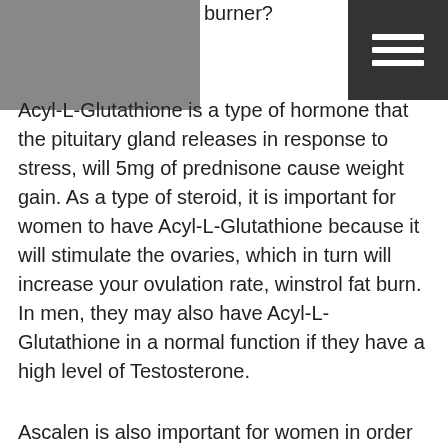burner?
Acyl-L-Glutathione is a type of hormone that the pituitary gland releases in response to stress, will 5mg of prednisone cause weight gain. As a type of steroid, it is important for women to have Acyl-L-Glutathione because it will stimulate the ovaries, which in turn will increase your ovulation rate, winstrol fat burn. In men, they may also have Acyl-L-Glutathione in a normal function if they have a high level of Testosterone.
Ascalen is also important for women in order to boost their estrogen production, winstrol fat loss. It was discovered that this hormone was released by the liver when aspartame was metabolized, does prednisone make you gain weight. Thus, women and men have to use aspartame in their life as they can't produce it naturally so they have to